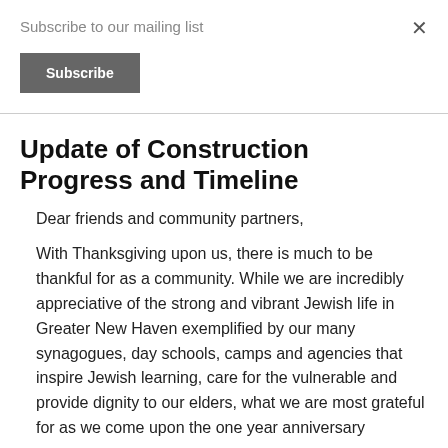Subscribe to our mailing list
×
Subscribe
Update of Construction Progress and Timeline
Dear friends and community partners,
With Thanksgiving upon us, there is much to be thankful for as a community. While we are incredibly appreciative of the strong and vibrant Jewish life in Greater New Haven exemplified by our many synagogues, day schools, camps and agencies that inspire Jewish learning, care for the vulnerable and provide dignity to our elders, what we are most grateful for as we come upon the one year anniversary